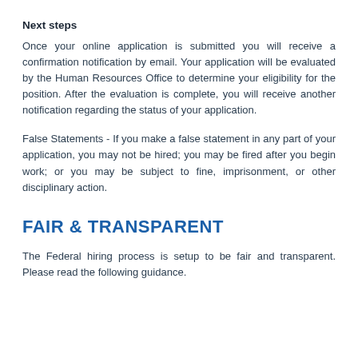Next steps
Once your online application is submitted you will receive a confirmation notification by email. Your application will be evaluated by the Human Resources Office to determine your eligibility for the position. After the evaluation is complete, you will receive another notification regarding the status of your application.
False Statements - If you make a false statement in any part of your application, you may not be hired; you may be fired after you begin work; or you may be subject to fine, imprisonment, or other disciplinary action.
FAIR & TRANSPARENT
The Federal hiring process is setup to be fair and transparent. Please read the following guidance.